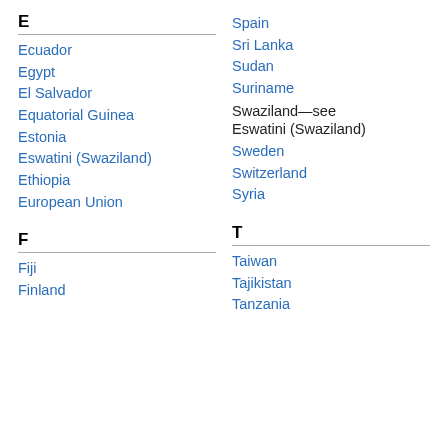E
Ecuador
Egypt
El Salvador
Equatorial Guinea
Estonia
Eswatini (Swaziland)
Ethiopia
European Union
F
Fiji
Finland
Spain
Sri Lanka
Sudan
Suriname
Swaziland—see Eswatini (Swaziland)
Sweden
Switzerland
Syria
T
Taiwan
Tajikistan
Tanzania